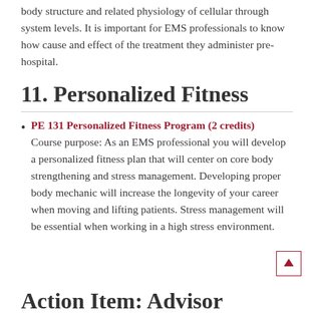body structure and related physiology of cellular through system levels.  It is important for EMS professionals to know how cause and effect of the treatment they administer pre-hospital.
11. Personalized Fitness
PE 131 Personalized Fitness Program (2 credits) Course purpose: As an EMS professional you will develop a personalized fitness plan that will center on core body strengthening and stress management.  Developing proper body mechanic will increase the longevity of your career when moving and lifting patients.  Stress management will be essential when working in a high stress environment.
Action Item: Advisor